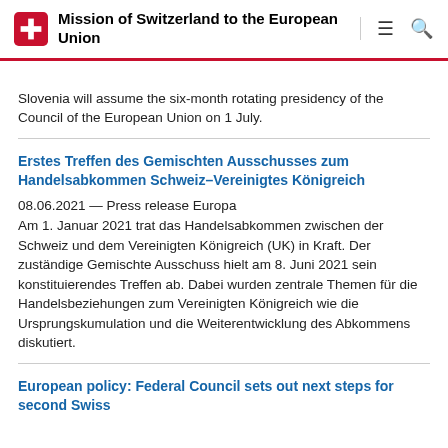Mission of Switzerland to the European Union
Slovenia will assume the six-month rotating presidency of the Council of the European Union on 1 July.
Erstes Treffen des Gemischten Ausschusses zum Handelsabkommen Schweiz–Vereinigtes Königreich
08.06.2021 — Press release Europa
Am 1. Januar 2021 trat das Handelsabkommen zwischen der Schweiz und dem Vereinigten Königreich (UK) in Kraft. Der zuständige Gemischte Ausschuss hielt am 8. Juni 2021 sein konstituierendes Treffen ab. Dabei wurden zentrale Themen für die Handelsbeziehungen zum Vereinigten Königreich wie die Ursprungskumulation und die Weiterentwicklung des Abkommens diskutiert.
European policy: Federal Council sets out next steps for second Swiss contribution